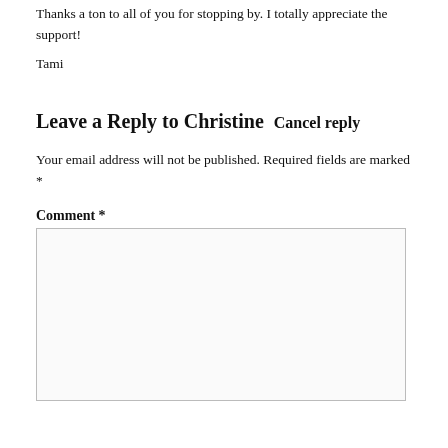Thanks a ton to all of you for stopping by. I totally appreciate the support!
Tami
Leave a Reply to Christine  Cancel reply
Your email address will not be published. Required fields are marked *
Comment *